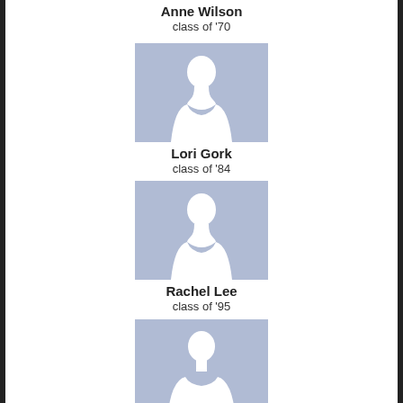Anne Wilson
class of '70
[Figure (illustration): Generic female silhouette placeholder avatar on blue-grey background]
Lori Gork
class of '84
[Figure (illustration): Generic female silhouette placeholder avatar on blue-grey background]
Rachel Lee
class of '95
[Figure (illustration): Generic male silhouette placeholder avatar on blue-grey background]
John Heiser
class of '01